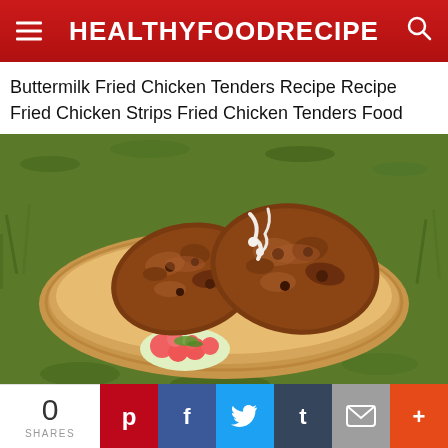HEALTHYFOODRECIPE
Buttermilk Fried Chicken Tenders Recipe Recipe Fried Chicken Strips Fried Chicken Tenders Food
[Figure (photo): Fried chicken tenders in a kraft paper boat/tray with watermelon salad, on grass background]
0 SHARES | Pinterest | Facebook | Twitter | Tumblr | Email | More